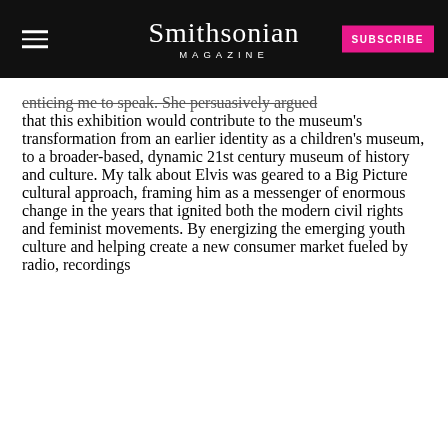Smithsonian MAGAZINE | SUBSCRIBE
enticing me to speak. She persuasively argued that this exhibition would contribute to the museum's transformation from an earlier identity as a children's museum, to a broader-based, dynamic 21st century museum of history and culture. My talk about Elvis was geared to a Big Picture cultural approach, framing him as a messenger of enormous change in the years that ignited both the modern civil rights and feminist movements. By energizing the emerging youth culture and helping create a new consumer market fueled by radio, recordings and concerts. Elvis went on to dominate the